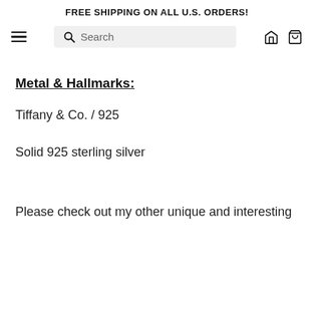FREE SHIPPING ON ALL U.S. ORDERS!
Metal & Hallmarks:
Tiffany & Co. / 925
Solid 925 sterling silver
Please check out my other unique and interesting